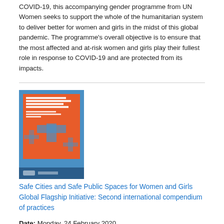COVID-19, this accompanying gender programme from UN Women seeks to support the whole of the humanitarian system to deliver better for women and girls in the midst of this global pandemic. The programme's overall objective is to ensure that the most affected and at-risk women and girls play their fullest role in response to COVID-19 and are protected from its impacts.
[Figure (photo): Book cover of 'Safe Cities and Safe Public Spaces for Women and Girls Global Flagship Initiative: Second international compendium of practices' — orange and blue cover with cross/plus graphic]
Safe Cities and Safe Public Spaces for Women and Girls Global Flagship Initiative: Second international compendium of practices
Date: Monday, 24 February 2020
This publication illustrates in a practical way how participating cities of the Safe Cities and Safe Public Spaces Global Initiative are working to implement women's safety approaches through the lens of intersectionality. These include a range of women-led solutions, from the creation of data, to integrated policies with meaningful participation of women's rights organizations, to urban planning